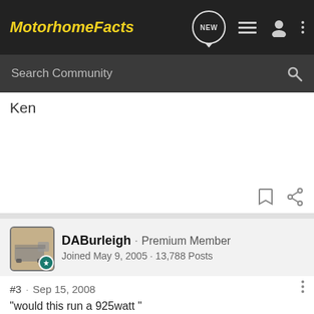Motorhome Facts
Search Community
Ken
DABurleigh · Premium Member
Joined May 9, 2005 · 13,788 Posts
#3 · Sep 15, 2008
"would this run a 925watt "
No.
[Figure (screenshot): GEICO RV insurance advertisement banner: teal background with text 'THE RIGHT RV COVERAGE FOR YOU', an image of an RV, and GEICO logo with 'FOR YOUR RV']